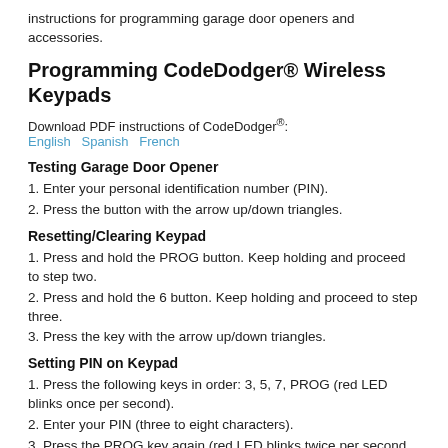instructions for programming garage door openers and accessories.
Programming CodeDodger® Wireless Keypads
Download PDF instructions of CodeDodger®: English  Spanish  French
Testing Garage Door Opener
1. Enter your personal identification number (PIN).
2. Press the button with the arrow up/down triangles.
Resetting/Clearing Keypad
1. Press and hold the PROG button. Keep holding and proceed to step two.
2. Press and hold the 6 button. Keep holding and proceed to step three.
3. Press the key with the arrow up/down triangles.
Setting PIN on Keypad
1. Press the following keys in order: 3, 5, 7, PROG (red LED blinks once per second).
2. Enter your PIN (three to eight characters).
3. Press the PROG key again (red LED blinks twice per second and turns off).